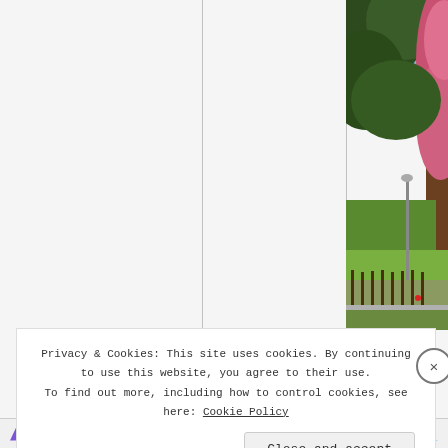[Figure (photo): Photograph of trees with green foliage and pink/red blossoms against a blue sky, with a park or green area visible in the background. A street lamp is visible.]
Privacy & Cookies: This site uses cookies. By continuing to use this website, you agree to their use. To find out more, including how to control cookies, see here: Cookie Policy
Close and accept